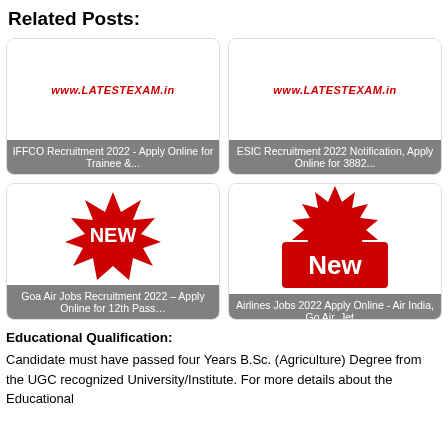Related Posts:
[Figure (illustration): IFFCO Recruitment 2022 - Apply Online for Trainee &... card with www.LATESTEXAM.in header]
[Figure (illustration): ESIC Recruitment 2022 Notification, Apply Online for 3882... card with www.LATESTEXAM.in header]
[Figure (illustration): Goa Air Jobs Recruitment 2022 - Apply Online for 12th Pass... card with NEW badge]
[Figure (illustration): Airlines Jobs 2022 Apply Online - Air India, Go Air, Jet... card with New badge]
Educational Qualification:
Candidate must have passed four Years B.Sc. (Agriculture) Degree from the UGC recognized University/Institute. For more details about the Educational